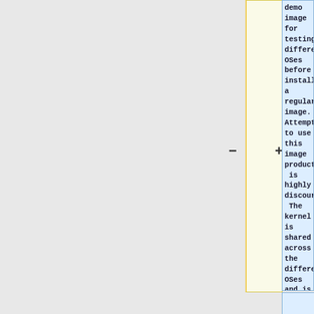demo image for testing different OSes before installing a regular image. Attempting to use this image productively is highly discouraged. The kernel is shared across the different OSes and is not updated.}}